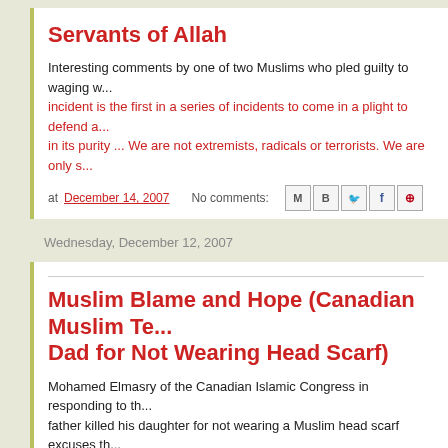Servants of Allah
Interesting comments by one of two Muslims who pled guilty to waging w... incident is the first in a series of incidents to come in a plight to defend a... in its purity ... We are not extremists, radicals or terrorists. We are only s...
at December 14, 2007   No comments:
Wednesday, December 12, 2007
Muslim Blame and Hope (Canadian Muslim Te... Dad for Not Wearing Head Scarf)
Mohamed Elmasry of the Canadian Islamic Congress in responding to th... father killed his daughter for not wearing a Muslim head scarf excuses th... want the public to think that this is really an Islamic issue or an immigran... issue."
I trust that when it comes to the DEATH of an individual, even one's own... this nature, there has to be those of the Muslim heritage who question th... the name of Islam but being justified by Islamic leaders, and even denyin...